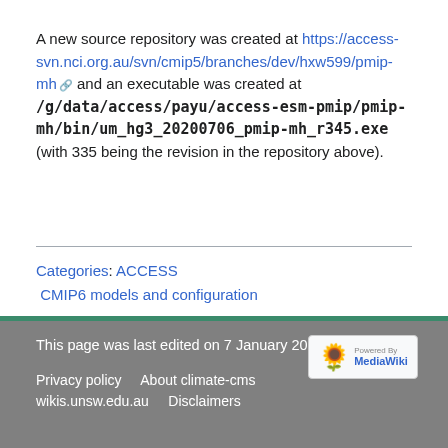A new source repository was created at https://access-svn.nci.org.au/svn/cmip5/branches/dev/hxw599/pmip-mh and an executable was created at /g/data/access/payu/access-esm-pmip/pmip-mh/bin/um_hg3_20200706_pmip-mh_r345.exe (with 335 being the revision in the repository above).
Categories: ACCESS  CMIP6 models and configuration
This page was last edited on 7 January 2021, at 20:06.
Privacy policy    About climate-cms wikis.unsw.edu.au    Disclaimers